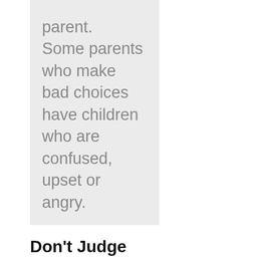parent. Some parents who make bad choices have children who are confused, upset or angry.
Don't Judge